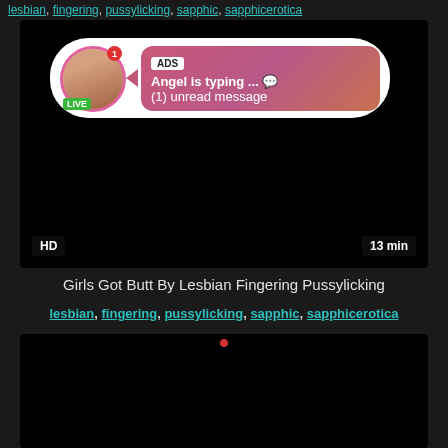lesbian, fingering, pussylicking, sapphic, sapphicerotica
[Figure (screenshot): Video thumbnail showing dark background with an ad overlay popup. The popup has a circular avatar with a LIVE badge, and a pink gradient bubble saying 'ADS / Angel is typing ... 💬 / (1) unread message'. Bottom left shows 'HD' badge and bottom right shows '13 min'.]
Girls Got Butt By Lesbian Fingering Pussylicking
lesbian, fingering, pussylicking, sapphic, sapphicerotica
[Figure (screenshot): Dark/black video thumbnail, second video.]